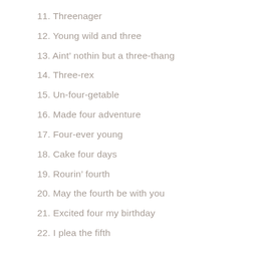11. Threenager
12. Young wild and three
13. Aint' nothin but a three-thang
14. Three-rex
15. Un-four-getable
16. Made four adventure
17. Four-ever young
18. Cake four days
19. Rourin' fourth
20. May the fourth be with you
21. Excited four my birthday
22. I plea the fifth